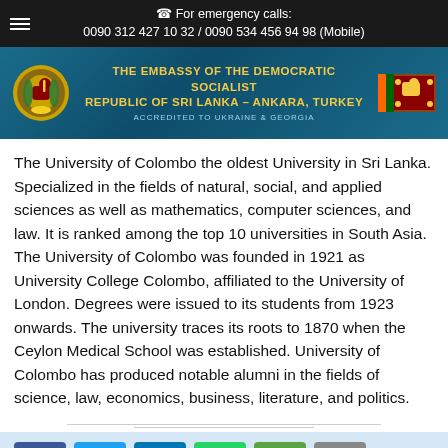☎ For emergency calls: 0090 312 427 10 32 / 0090 534 456 94 98 (Mobile)
[Figure (logo): Embassy of the Democratic Socialist Republic of Sri Lanka - Ankara, Turkey. Accredited to Ukraine & Georgia. Features Sri Lanka coat of arms logo on the left and Sri Lanka flag on the right on a teal/blue gradient banner.]
The University of Colombo the oldest University in Sri Lanka. Specialized in the fields of natural, social, and applied sciences as well as mathematics, computer sciences, and law. It is ranked among the top 10 universities in South Asia. The University of Colombo was founded in 1921 as University College Colombo, affiliated to the University of London. Degrees were issued to its students from 1923 onwards. The university traces its roots to 1870 when the Ceylon Medical School was established. University of Colombo has produced notable alumni in the fields of science, law, economics, business, literature, and politics.
[Figure (infographic): Social share buttons row: Facebook, Twitter, LinkedIn, WhatsApp, Print, Email icons. Scroll-to-top button on the right.]